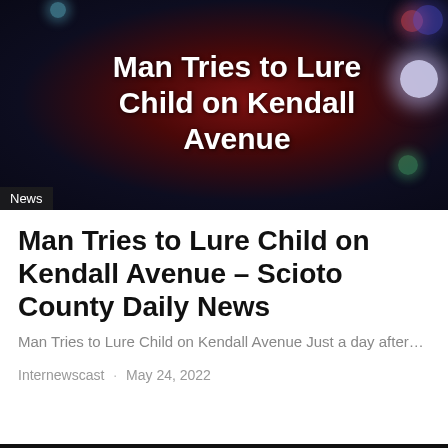[Figure (photo): Dark bokeh background image with red circular light in center, police/emergency lights bokeh in red and blue, white text overlay reading 'Man Tries to Lure Child on Kendall Avenue', with a 'News' badge in lower left corner]
Man Tries to Lure Child on Kendall Avenue – Scioto County Daily News
Man Tries to Lure Child on Kendall Avenue Just a day after…
Internewscast · May 24, 2022